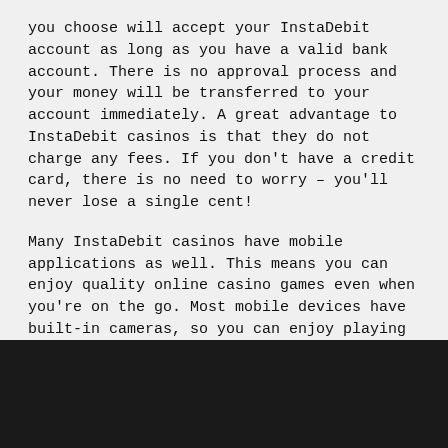you choose will accept your InstaDebit account as long as you have a valid bank account. There is no approval process and your money will be transferred to your account immediately. A great advantage to InstaDebit casinos is that they do not charge any fees. If you don't have a credit card, there is no need to worry – you'll never lose a single cent!
Many InstaDebit casinos have mobile applications as well. This means you can enjoy quality online casino games even when you're on the go. Most mobile devices have built-in cameras, so you can enjoy playing your favorite games on the go. InstaDebit mobile casinos typically have an e-wallet that makes it easy to deposit funds. You can also deposit and withdraw money from your InstaDebit account with a credit card or a debit card, and most Canadian banks support the service.